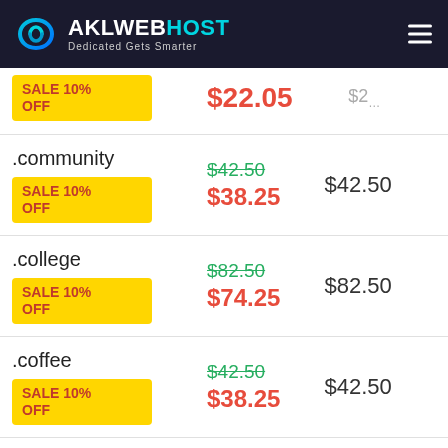[Figure (logo): AKLWebHost logo with infinity icon and tagline 'Dedicated Gets Smarter']
| Domain | Register | Renew | Transfer |
| --- | --- | --- | --- |
| (partial row) | $22.05 | $24.xx | $2x |
| .community SALE 10% OFF | $42.50 → $38.25 | $42.50 | $42 |
| .college SALE 10% OFF | $82.50 → $74.25 | $82.50 | $82 |
| .coffee SALE 10% OFF | $42.50 → $38.25 | $42.50 | $42 |
| .codes SALE 10% OFF | $68.50 → $61.65 | $68.50 | $68 |